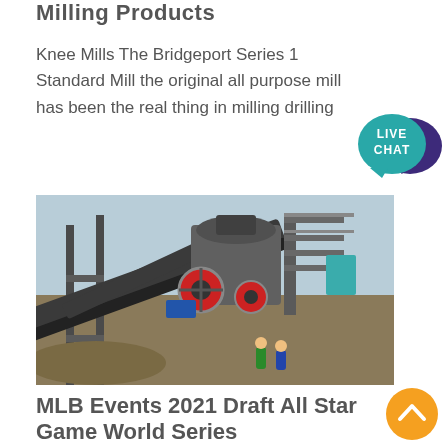Milling Products
Knee Mills The Bridgeport Series 1 Standard Mill the original all purpose mill has been the real thing in milling drilling
[Figure (photo): Industrial mining or crushing machinery with conveyor belts, large metal structures, a cone crusher (red and black), and workers visible at the base. Outdoor setting with dirt ground and light sky.]
MLB Events 2021 Draft All Star Game World Series